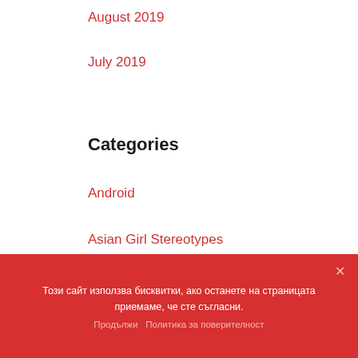August 2019
July 2019
Categories
Android
Asian Girl Stereotypes
Best Mail Order Brides
Best Site For Hookups
Best Site For Russian Brides
Best Way To Find A Wife
Dating A Russian Girl
Този сайт използва бисквитки, ако останете на страницата приемаме, че сте съгласни.
Продължи   Политика за поверителност